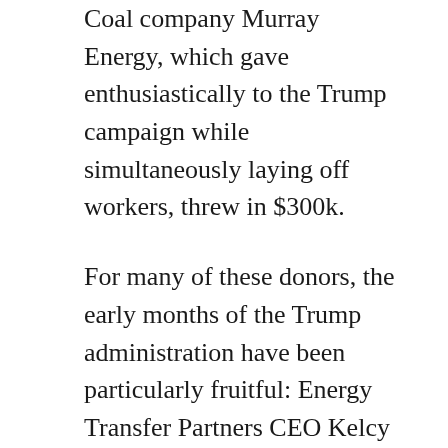Coal company Murray Energy, which gave enthusiastically to the Trump campaign while simultaneously laying off workers, threw in $300k.
For many of these donors, the early months of the Trump administration have been particularly fruitful: Energy Transfer Partners CEO Kelcy Warren, who donated $250k, saw the president sign an executive memo ordering the construction of the ETP-owned Dakota Access Pipeline merely four days after the inauguration.
More than 1,500 corporate and individual funders for the inauguration raised $107 million all together—twice as much as Barack